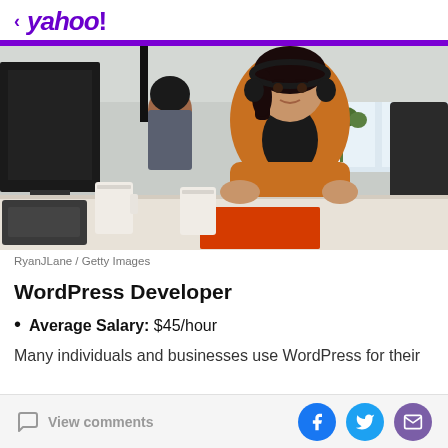< yahoo!
[Figure (photo): Woman with headphones wearing orange jacket sitting at a desk with monitors, coffee cups in foreground, office setting]
RyanJLane / Getty Images
WordPress Developer
Average Salary: $45/hour
Many individuals and businesses use WordPress for their
View comments